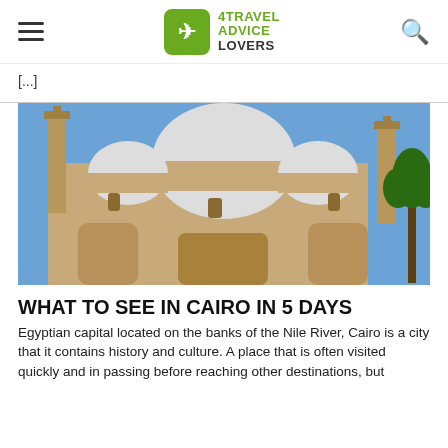4TRAVEL ADVICE LOVERS
[...]
[Figure (photo): Exterior view of a large mosque with domes and minarets against a blue sky, with palm trees visible on the right side. Stone/sandstone building architecture.]
WHAT TO SEE IN CAIRO IN 5 DAYS
Egyptian capital located on the banks of the Nile River, Cairo is a city that it contains history and culture. A place that is often visited quickly and in passing before reaching other destinations, but